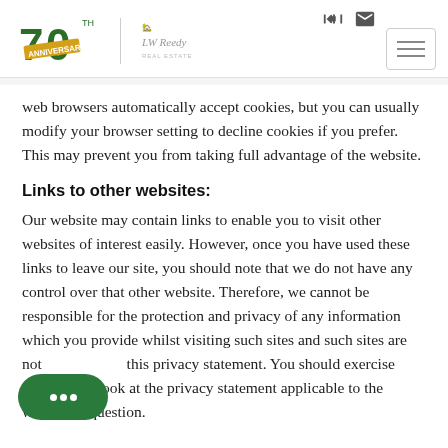LW Reedy Real Estate — 70th Anniversary
web browsers automatically accept cookies, but you can usually modify your browser setting to decline cookies if you prefer. This may prevent you from taking full advantage of the website.
Links to other websites:
Our website may contain links to enable you to visit other websites of interest easily. However, once you have used these links to leave our site, you should note that we do not have any control over that other website. Therefore, we cannot be responsible for the protection and privacy of any information which you provide whilst visiting such sites and such sites are not governed by this privacy statement. You should exercise caution and look at the privacy statement applicable to the website in question.